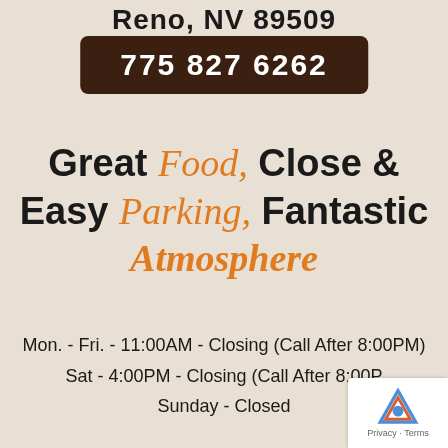Reno, NV 89509
775 827 6262
Great Food, Close & Easy Parking, Fantastic Atmosphere
Mon. - Fri. - 11:00AM - Closing (Call After 8:00PM)
Sat - 4:00PM - Closing (Call After 8:00PM)
Sunday - Closed